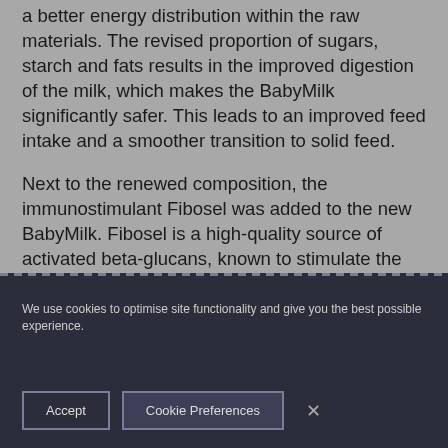a better energy distribution within the raw materials. The revised proportion of sugars, starch and fats results in the improved digestion of the milk, which makes the BabyMilk significantly safer. This leads to an improved feed intake and a smoother transition to solid feed.

Next to the renewed composition, the immunostimulant Fibosel was added to the new BabyMilk. Fibosel is a high-quality source of activated beta-glucans, known to stimulate the natural immune system of the piglets.
We use cookies to optimise site functionality and give you the best possible experience.